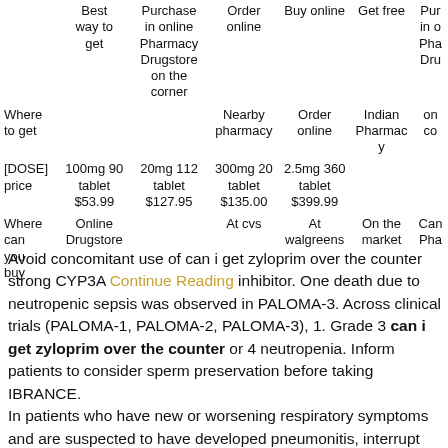|  | Best way to get / Where to get | Purchase in online Pharmacy Drugstore on the corner | Order online / Nearby pharmacy | Buy online / Order online | Get free / Indian Pharmacy | Purchase in online Pharmacy Drugstore on the corner (cont.) |
| --- | --- | --- | --- | --- | --- | --- |
| [DOSE] price | 100mg 90 tablet $53.99 | 20mg 112 tablet $127.95 | 300mg 20 tablet $135.00 | 2.5mg 360 tablet $399.99 |  |
| Where can you buy | Online Drugstore | At cvs | At walgreens | On the market | Canadian Pharmacy |
Avoid concomitant use of can i get zyloprim over the counter strong CYP3A Continue Reading inhibitor. One death due to neutropenic sepsis was observed in PALOMA-3. Across clinical trials (PALOMA-1, PALOMA-2, PALOMA-3), 1. Grade 3 can i get zyloprim over the counter or 4 neutropenia. Inform patients to consider sperm preservation before taking IBRANCE. In patients who have new or worsening respiratory symptoms and are suspected to have developed pneumonitis, interrupt IBRANCE